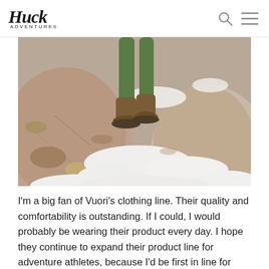Huck Adventures
[Figure (photo): Close-up aerial view of a person wearing green pants and brown hiking boots stepping between snow-covered rocky boulders]
I'm a big fan of Vuori's clothing line. Their quality and comfortability is outstanding. If I could, I would probably be wearing their product every day. I hope they continue to expand their product line for adventure athletes, because I'd be first in line for them.